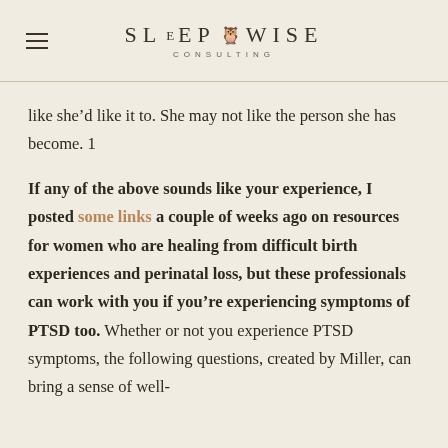SLEEP WISE CONSULTING
like she'd like it to. She may not like the person she has become. 1
If any of the above sounds like your experience, I posted some links a couple of weeks ago on resources for women who are healing from difficult birth experiences and perinatal loss, but these professionals can work with you if you're experiencing symptoms of PTSD too. Whether or not you experience PTSD symptoms, the following questions, created by Miller, can bring a sense of well-